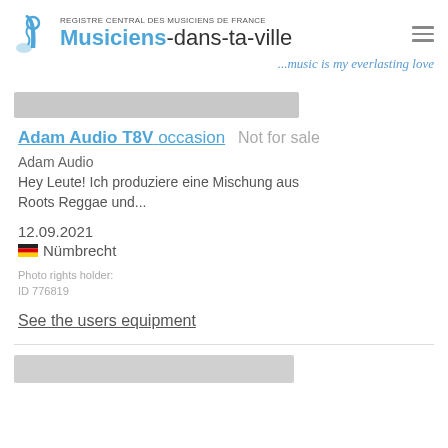REGISTRE CENTRAL DES MUSICIENS DE FRANCE — Musiciens-dans-ta-ville
[Figure (screenshot): Gray horizontal image placeholder bar]
Adam Audio T8V occasion  Not for sale
Adam Audio
Hey Leute! Ich produziere eine Mischung aus Roots Reggae und...
12.09.2021
🇩🇪 Nümbrecht
Photo rights holder:
ID 776819
See the users equipment
[Figure (photo): Gray image placeholder bar at bottom]